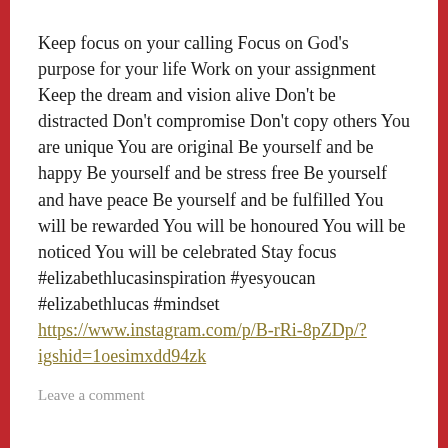Keep focus on your calling Focus on God's purpose for your life Work on your assignment Keep the dream and vision alive Don't be distracted Don't compromise Don't copy others You are unique You are original Be yourself and be happy Be yourself and be stress free Be yourself and have peace Be yourself and be fulfilled You will be rewarded You will be honoured You will be noticed You will be celebrated Stay focus #elizabethlucasinspiration #yesyoucan #elizabethlucas #mindset https://www.instagram.com/p/B-rRi-8pZDp/?igshid=1oesimxdd94zk
Leave a comment